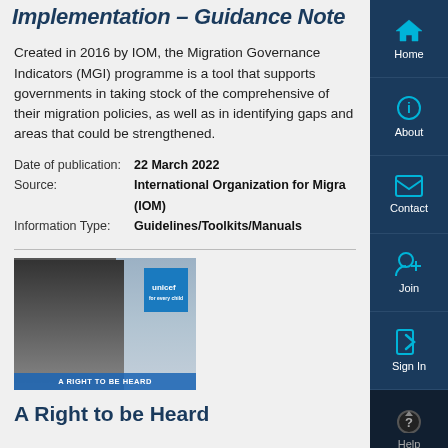Implementation – Guidance Note
Created in 2016 by IOM, the Migration Governance Indicators (MGI) programme is a tool that supports governments in taking stock of the comprehensive of their migration policies, as well as in identifying gaps and areas that could be strengthened.
Date of publication: 22 March 2022
Source: International Organization for Migration (IOM)
Information Type: Guidelines/Toolkits/Manuals
[Figure (photo): Cover image of a report showing a woman in a hijab looking out a window, with a UNICEF logo badge and the text 'A RIGHT TO BE HEARD']
A Right to be Heard